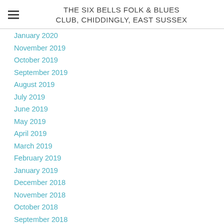THE SIX BELLS FOLK & BLUES CLUB, CHIDDINGLY, EAST SUSSEX
January 2020
November 2019
October 2019
September 2019
August 2019
July 2019
June 2019
May 2019
April 2019
March 2019
February 2019
January 2019
December 2018
November 2018
October 2018
September 2018
August 2018